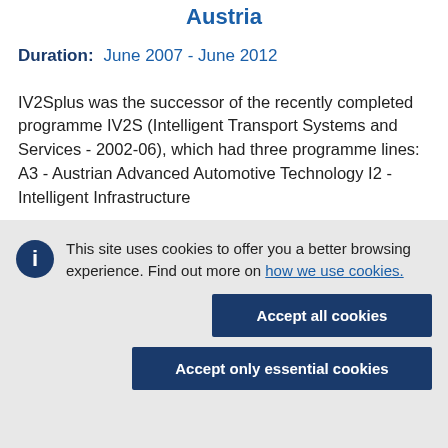Austria
Duration: June 2007 - June 2012
IV2Splus was the successor of the recently completed programme IV2S (Intelligent Transport Systems and Services - 2002-06), which had three programme lines: A3 - Austrian Advanced Automotive Technology I2 - Intelligent Infrastructure
This site uses cookies to offer you a better browsing experience. Find out more on how we use cookies.